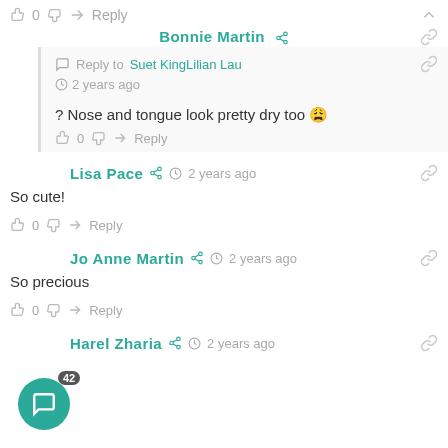👍 0 👎 ↪ Reply ∧
Bonnie Martin 🔗 Reply to Suet KingLilian Lau ⏱ 2 years ago 🔗
? Nose and tongue look pretty dry too 😩
👍 0 👎 ↪ Reply
Lisa Pace 🔗 ⏱ 2 years ago 🔗
So cute!
👍 0 👎 ↪ Reply
Jo Anne Martin 🔗 ⏱ 2 years ago 🔗
So precious
👍 0 👎 ↪ Reply
Harel Zharia 🔗 ⏱ 2 years ago 🔗